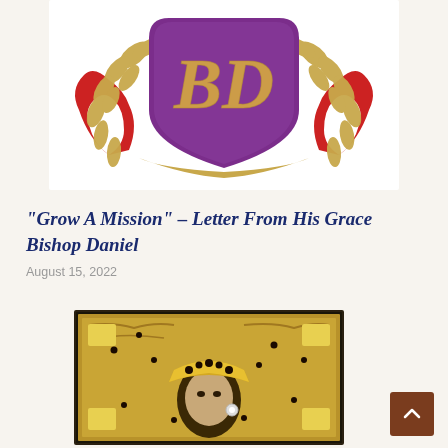[Figure (illustration): Coat of arms / crest with purple shield bearing gold 'BD' monogram, surrounded by gold laurel branches, red and white ribbons/banner, on light beige background]
“Grow A Mission” – Letter From His Grace Bishop Daniel
August 15, 2022
[Figure (photo): Orthodox icon with golden riza/cover showing religious figure (likely Virgin Mary), elaborate gold metalwork with decorative crown and ornamental details, dark background]